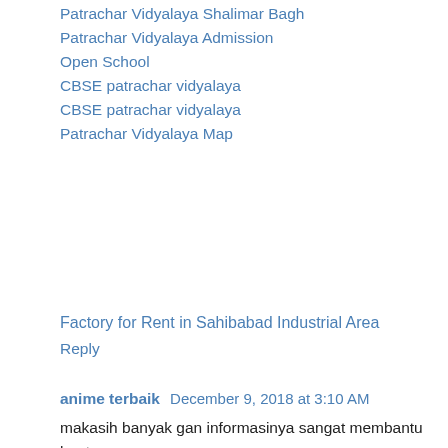Patrachar Vidyalaya Shalimar Bagh
Patrachar Vidyalaya Admission Open School
CBSE patrachar vidyalaya
CBSE patrachar vidyalaya
Patrachar Vidyalaya Map
Factory for Rent in Sahibabad Industrial Area
Reply
anime terbaik  December 9, 2018 at 3:10 AM
makasih banyak gan informasinya sangat membantu buat ane..
Semoga terus update artikel yang membantu seperti terus